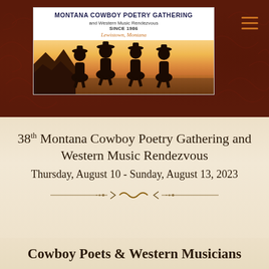[Figure (logo): Montana Cowboy Poetry Gathering and Western Music Rendezvous logo with silhouette of four horseback riders against a sunset sky, text reads 'MONTANA COWBOY POETRY GATHERING and Western Music Rendezvous SINCE 1986 Lewistown, Montana']
38th Montana Cowboy Poetry Gathering and Western Music Rendezvous
Thursday, August 10 - Sunday, August 13, 2023
Cowboy Poets & Western Musicians